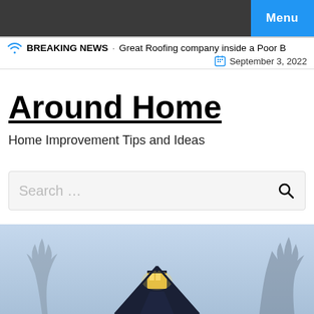Menu
BREAKING NEWS   Great Roofing company inside a Poor B   September 3, 2022
Around Home
Home Improvement Tips and Ideas
Search …
[Figure (photo): Photograph of a house rooftop with illuminated lantern-style peak and bare trees in background against a twilight sky]